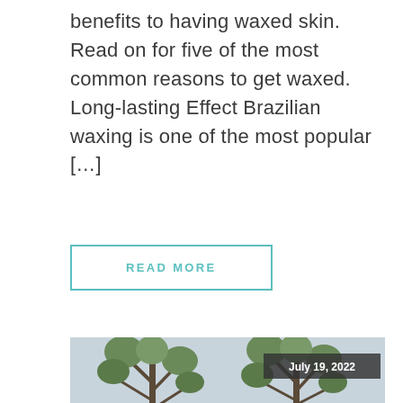benefits to having waxed skin. Read on for five of the most common reasons to get waxed.   Long-lasting Effect Brazilian waxing is one of the most popular […]
READ MORE
[Figure (photo): Woman performing a yoga cobra pose on a wooden deck outdoors, with two large potted trees in the background against a light grey wall. A date badge reading 'July 19, 2022' is overlaid in the top-right area.]